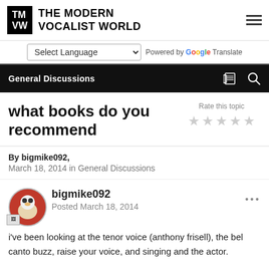THE MODERN VOCALIST WORLD
Select Language — Powered by Google Translate
General Discussions
what books do you recommend
Rate this topic
By bigmike092,
March 18, 2014 in General Discussions
bigmike092
Posted March 18, 2014
i've been looking at the tenor voice (anthony frisell), the bel canto buzz, raise your voice, and singing and the actor.

if anyone could recommend any good books that would be cool,